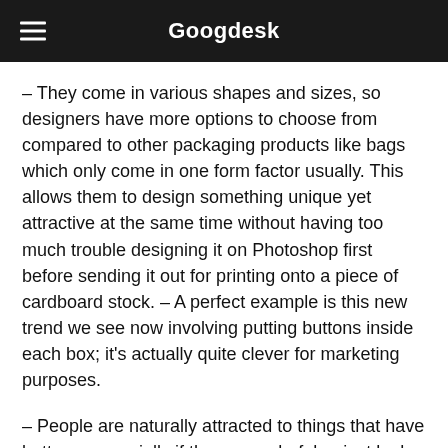Googdesk
– They come in various shapes and sizes, so designers have more options to choose from compared to other packaging products like bags which only come in one form factor usually. This allows them to design something unique yet attractive at the same time without having too much trouble designing it on Photoshop first before sending it out for printing onto a piece of cardboard stock. – A perfect example is this new trend we see now involving putting buttons inside each box; it's actually quite clever for marketing purposes.
– People are naturally attracted to things that have buttons, especially if they are colorful or just look different from the norm, so it ends up working out well in this case. – It can also be used as a fun gift idea too because people